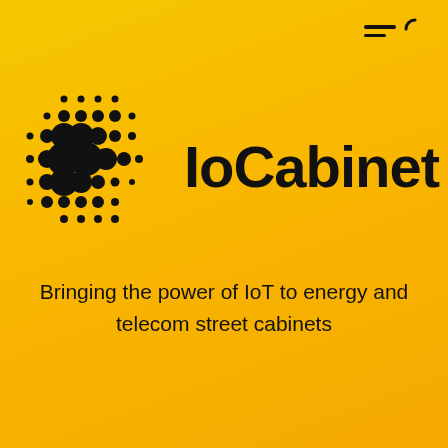[Figure (logo): IoCabinet logo with dot-matrix pattern icon on the left and 'IoCabinet' wordmark in bold black on yellow background, with hamburger menu icon in top right corner]
Bringing the power of IoT to energy and telecom street cabinets